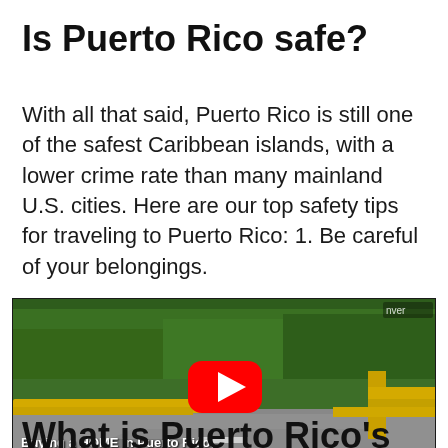Is Puerto Rico safe?
With all that said, Puerto Rico is still one of the safest Caribbean islands, with a lower crime rate than many mainland U.S. cities. Here are our top safety tips for traveling to Puerto Rico: 1. Be careful of your belongings.
[Figure (screenshot): YouTube video thumbnail showing a Puerto Rico highway/road with yellow guardrails and green trees. A red YouTube play button is centered on the image. Bottom-left text reads 'Buying a HOME in Puerto Rico, if you live in the United States'. Bottom-right shows 'island homes' branding. Top-right shows 'nver' watermark text.]
What is Puerto Rico's